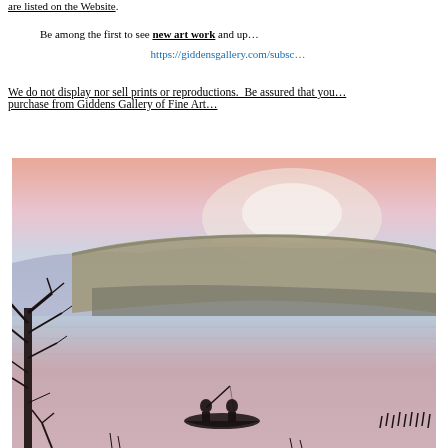are listed on the Website.
Be among the first to see new art work and up…
https://giddensgallery.com/subsc…
We do not display nor sell prints or reproductions. Be assured that you… purchase from Giddens Gallery of Fine Art…
[Figure (illustration): Watercolor painting of a serene lake scene at dusk with two silhouetted figures fishing from a small boat, bare trees on the left, and a large mesa or cliff reflected in the calm pink-toned water under a soft pastel sky.]